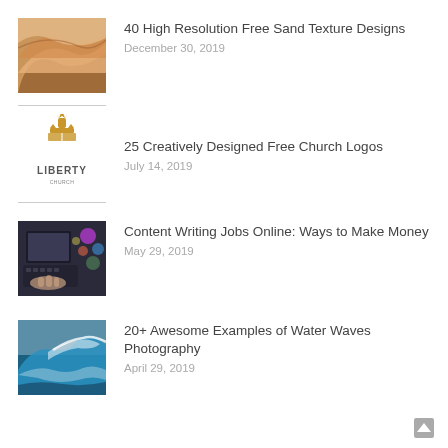[Figure (photo): Sand dunes with smooth curves and warm golden-brown tones]
40 High Resolution Free Sand Texture Designs
December 30, 2019
[Figure (logo): Liberty church logo with gold torch/crown icon and LIBERTY text below]
25 Creatively Designed Free Church Logos
July 14, 2019
[Figure (photo): Person typing on laptop keyboard with colorful bokeh lights in background]
Content Writing Jobs Online: Ways to Make Money
May 29, 2019
[Figure (photo): Crashing ocean wave with turquoise water and white foam]
20+ Awesome Examples of Water Waves Photography
April 29, 2019